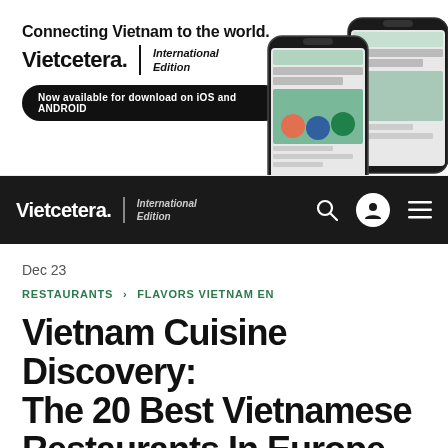[Figure (infographic): Vietcetera International Edition advertisement banner with text 'Connecting Vietnam to the world.' and logo, download button for iOS and Android, showing two smartphone mockups with app screenshots]
Vietcetera. International Edition
Dec 23
RESTAURANTS > FLAVORS VIETNAM EN
Vietnam Cuisine Discovery: The 20 Best Vietnamese Restaurants In Europe
From Paris to Prague, here are 20 essential Vietnamese